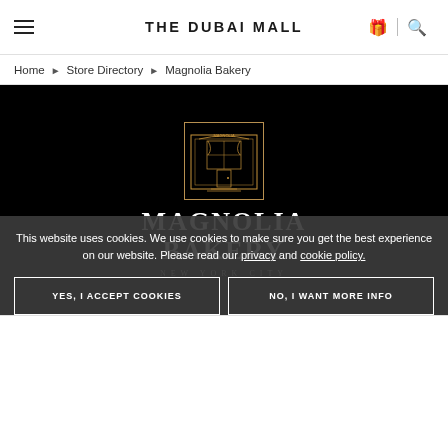THE DUBAI MALL
Home ▶ Store Directory ▶ Magnolia Bakery
[Figure (logo): Magnolia Bakery store page hero image on black background showing Magnolia Bakery logo (illustrated storefront in gold border box) with brand name MAGNOLIA BAKERY and subtitle NEW YORK CITY in white serif text]
This website uses cookies. We use cookies to make sure you get the best experience on our website. Please read our privacy and cookie policy.
YES, I ACCEPT COOKIES
NO, I WANT MORE INFO